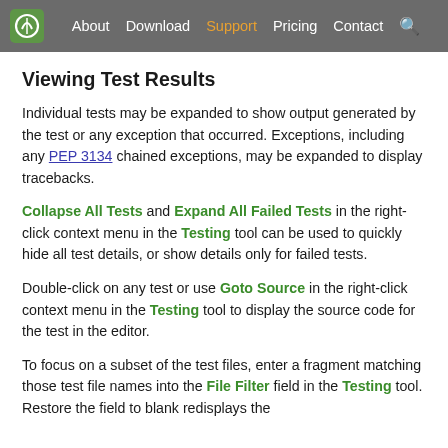About  Download  Support  Pricing  Contact
Viewing Test Results
Individual tests may be expanded to show output generated by the test or any exception that occurred. Exceptions, including any PEP 3134 chained exceptions, may be expanded to display tracebacks.
Collapse All Tests and Expand All Failed Tests in the right-click context menu in the Testing tool can be used to quickly hide all test details, or show details only for failed tests.
Double-click on any test or use Goto Source in the right-click context menu in the Testing tool to display the source code for the test in the editor.
To focus on a subset of the test files, enter a fragment matching those test file names into the File Filter field in the Testing tool. Restore the field to blank redisplays the